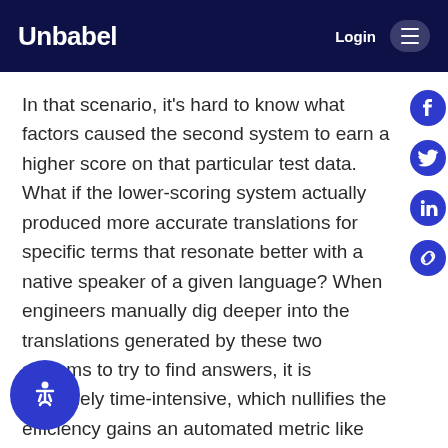Unbabel | Login
In that scenario, it's hard to know what factors caused the second system to earn a higher score on that particular test data. What if the lower-scoring system actually produced more accurate translations for specific terms that resonate better with a native speaker of a given language? When engineers manually dig deeper into the translations generated by these two systems to try to find answers, it is extremely time-intensive, which nullifies the efficiency gains an automated metric like COMET provides. This conundrum is why we developed MT-Telescope, which is capable of surfacing data